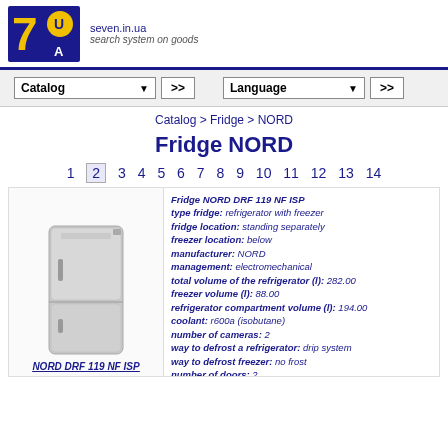seven.in.ua — search system on goods
Catalog >> Language >>
Catalog > Fridge > NORD
Fridge NORD
1 2 3 4 5 6 7 8 9 10 11 12 13 14
[Figure (photo): Photo of NORD DRF 119 NF ISP refrigerator, silver/grey color, bottom-freezer style]
NORD DRF 119 NF ISP
Fridge NORD DRF 119 NF ISP
type fridge: refrigerator with freezer
fridge location: standing separately
freezer location: below
manufacturer: NORD
management: electromechanical
total volume of the refrigerator (l): 282.00
freezer volume (l): 88.00
refrigerator compartment volume (l): 194.00
coolant: r600a (isobutane)
number of cameras: 2
way to defrost a refrigerator: drip system
way to defrost freezer: no frost
number of doors: 2
number of compressors: 1
noise level (dB): 39